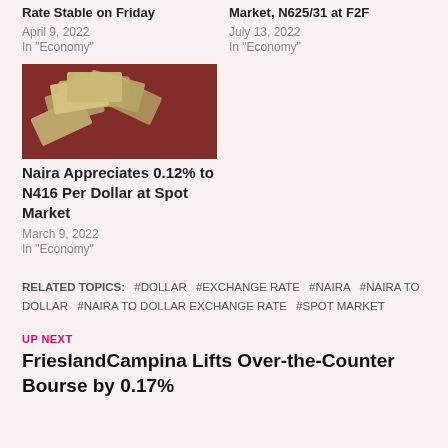Rate Stable on Friday
April 9, 2022
In "Economy"
Market, N625/31 at F2F
July 13, 2022
In "Economy"
[Figure (photo): Stack of Nigerian naira banknotes fanned out on a red/maroon surface]
Naira Appreciates 0.12% to N416 Per Dollar at Spot Market
March 9, 2022
In "Economy"
RELATED TOPICS: #DOLLAR #EXCHANGE RATE #NAIRA #NAIRA TO DOLLAR #NAIRA TO DOLLAR EXCHANGE RATE #SPOT MARKET
UP NEXT
FrieslandCampina Lifts Over-the-Counter Bourse by 0.17%